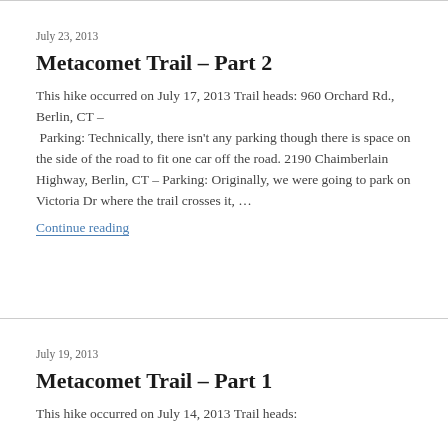July 23, 2013
Metacomet Trail – Part 2
This hike occurred on July 17, 2013 Trail heads: 960 Orchard Rd., Berlin, CT –  Parking: Technically, there isn't any parking though there is space on the side of the road to fit one car off the road. 2190 Chaimberlain Highway, Berlin, CT – Parking: Originally, we were going to park on Victoria Dr where the trail crosses it, …
Continue reading
July 19, 2013
Metacomet Trail – Part 1
This hike occurred on July 14, 2013 Trail heads: